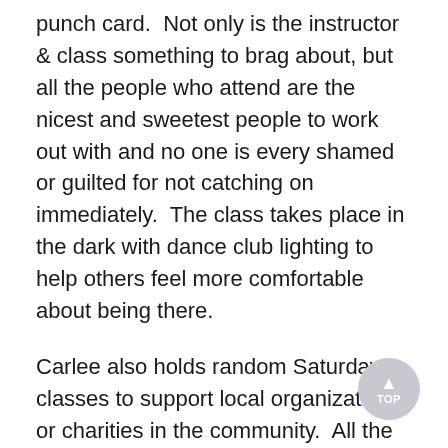punch card.  Not only is the instructor & class something to brag about, but all the people who attend are the nicest and sweetest people to work out with and no one is every shamed or guilted for not catching on immediately.  The class takes place in the dark with dance club lighting to help others feel more comfortable about being there.
Carlee also holds random Saturday classes to support local organizations or charities in the community.  All the proceeds are donated to the selected cause and you get a great workout as well.
I will be heading back to JAM next Tuesday, feel free to join me and shake off all of your dead